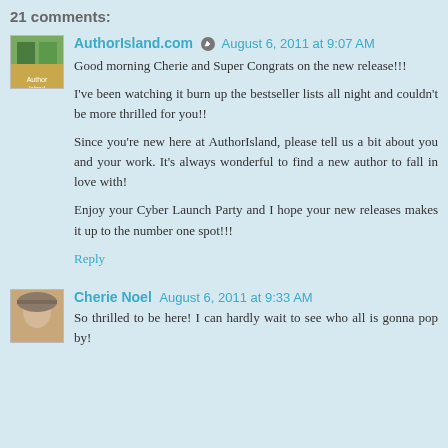21 comments:
AuthorIsland.com  August 6, 2011 at 9:07 AM
Good morning Cherie and Super Congrats on the new release!!!

I've been watching it burn up the bestseller lists all night and couldn't be more thrilled for you!!

Since you're new here at AuthorIsland, please tell us a bit about you and your work. It's always wonderful to find a new author to fall in love with!

Enjoy your Cyber Launch Party and I hope your new releases makes it up to the number one spot!!!

Reply
Cherie Noel  August 6, 2011 at 9:33 AM
So thrilled to be here! I can hardly wait to see who all is gonna pop by!